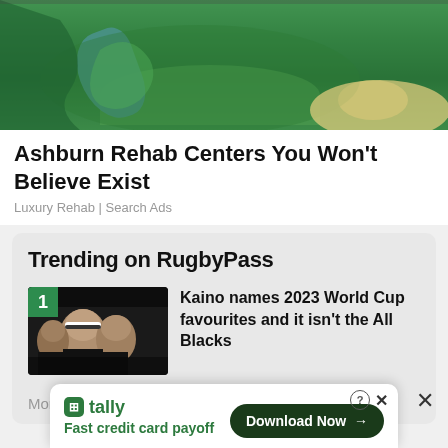[Figure (photo): Aerial photo of a golf course with green fairways, a winding river/stream, and a sand bunker]
Ashburn Rehab Centers You Won't Believe Exist
Luxury Rehab | Search Ads
Trending on RugbyPass
[Figure (photo): Thumbnail image of rugby players in black All Blacks jerseys with number 1 badge overlay]
Kaino names 2023 World Cup favourites and it isn't the All Blacks
More News →
[Figure (screenshot): Tally app advertisement banner: Fast credit card payoff with Download Now button]